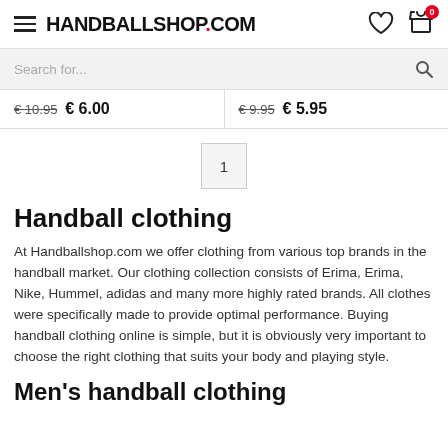HANDBALLSHOP.COM
Search for...
€ 10.95  € 6.00   € 9.95  € 5.95
1
Handball clothing
At Handballshop.com we offer clothing from various top brands in the handball market. Our clothing collection consists of Erima, Erima, Nike, Hummel, adidas and many more highly rated brands. All clothes were specifically made to provide optimal performance. Buying handball clothing online is simple, but it is obviously very important to choose the right clothing that suits your body and playing style.
Men's handball clothing